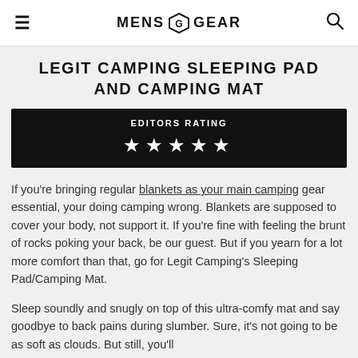MENS GEAR
LEGIT CAMPING SLEEPING PAD AND CAMPING MAT
EDITORS RATING ★★★★★
If you're bringing regular blankets as your main camping gear essential, your doing camping wrong. Blankets are supposed to cover your body, not support it. If you're fine with feeling the brunt of rocks poking your back, be our guest. But if you yearn for a lot more comfort than that, go for Legit Camping's Sleeping Pad/Camping Mat.
Sleep soundly and snugly on top of this ultra-comfy mat and say goodbye to back pains during slumber. Sure, it's not going to be as soft as clouds. But still, you'll